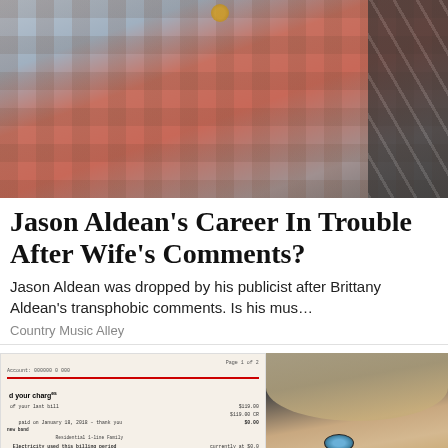[Figure (photo): Person wearing a plaid blue/red shirt with a red undershirt, standing in front of a dark hexagonal mesh background]
Jason Aldean's Career In Trouble After Wife's Comments?
Jason Aldean was dropped by his publicist after Brittany Aldean's transphobic comments. Is his mus...
Country Music Alley
[Figure (photo): Close-up of a utility bill document showing itemized charges]
[Figure (photo): Close-up of an older woman's face with blue eyes, partially lit from the side]